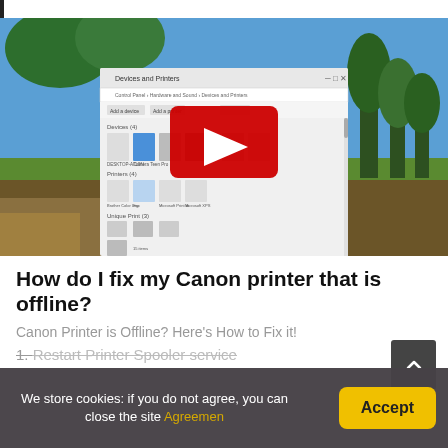[Figure (screenshot): Screenshot of Windows Devices and Printers control panel with a YouTube play button overlay, shown in front of a nature background with trees and fields.]
How do I fix my Canon printer that is offline?
Canon Printer is Offline? Here's How to Fix it!
1. Restart Printer Spooler service
We store cookies: if you do not agree, you can close the site Agreemen